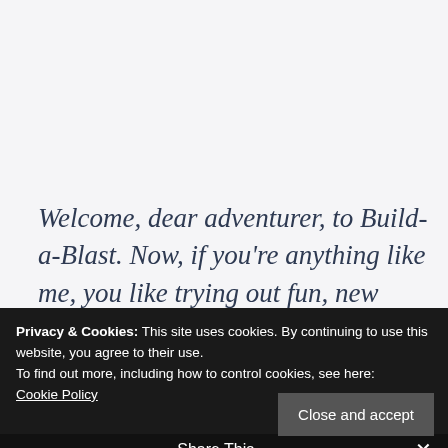Welcome, dear adventurer, to Build-a-Blast. Now, if you're anything like me, you like trying out fun, new D&D combinations. This series is for you. You, the grizzled old veterans of tabletop, for whom a simple cleric or bland
Privacy & Cookies: This site uses cookies. By continuing to use this website, you agree to their use.
To find out more, including how to control cookies, see here:
Cookie Policy
Close and accept
Share This ∨